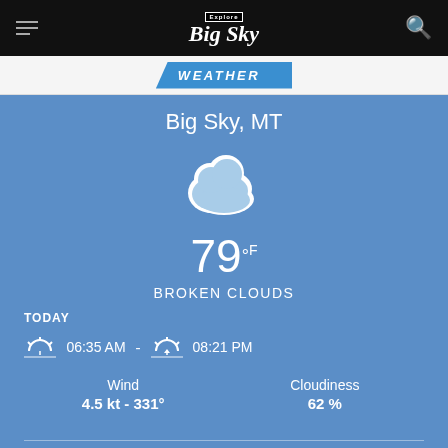Explore Big Sky
WEATHER
Big Sky, MT
[Figure (illustration): Broken cloud weather icon: white-outlined cloud with light blue interior against blue background]
79°F
BROKEN CLOUDS
TODAY
06:35 AM  -  08:21 PM
Wind
4.5 kt - 331°
Cloudiness
62 %